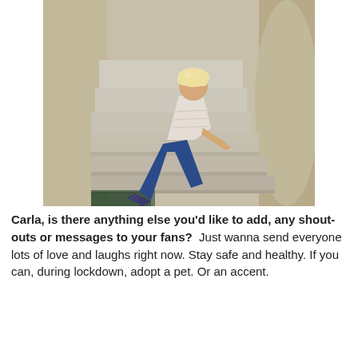[Figure (photo): A woman with curly blonde hair sitting on marble stairs, wearing a white crochet crop top, blue skinny jeans, and strappy heeled sandals, looking upward. The staircase has stone/marble walls and steps.]
Carla, is there anything else you'd like to add, any shout-outs or messages to your fans? Just wanna send everyone lots of love and laughs right now. Stay safe and healthy. If you can, during lockdown, adopt a pet. Or an accent.